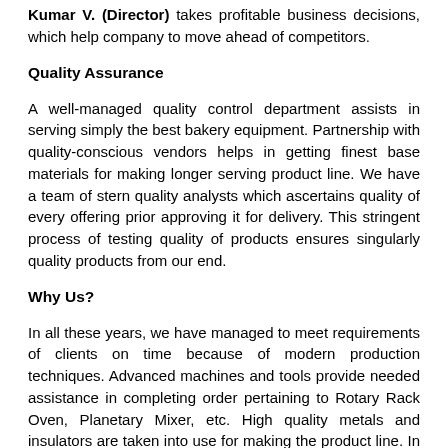Kumar V. (Director) takes profitable business decisions, which help company to move ahead of competitors.
Quality Assurance
A well-managed quality control department assists in serving simply the best bakery equipment. Partnership with quality-conscious vendors helps in getting finest base materials for making longer serving product line. We have a team of stern quality analysts which ascertains quality of every offering prior approving it for delivery. This stringent process of testing quality of products ensures singularly quality products from our end.
Why Us?
In all these years, we have managed to meet requirements of clients on time because of modern production techniques. Advanced machines and tools provide needed assistance in completing order pertaining to Rotary Rack Oven, Planetary Mixer, etc. High quality metals and insulators are taken into use for making the product line. In enhancing culinary experience of users, our products work wonders because of their strong built, supreme functionality and ergonomic design. Customized options